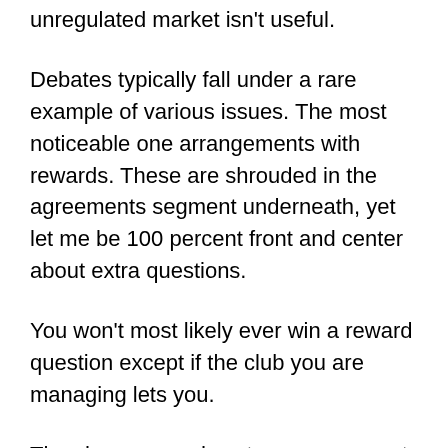unregulated market isn't useful.
Debates typically fall under a rare example of various issues. The most noticeable one arrangements with rewards. These are shrouded in the agreements segment underneath, yet let me be 100 percent front and center about extra questions.
You won't most likely ever win a reward question except if the club you are managing lets you.
They have rewards set up so you most likely can't win any question. It is not necessarily the case that they don't really give out rewards. They really do give them out and most players approve of